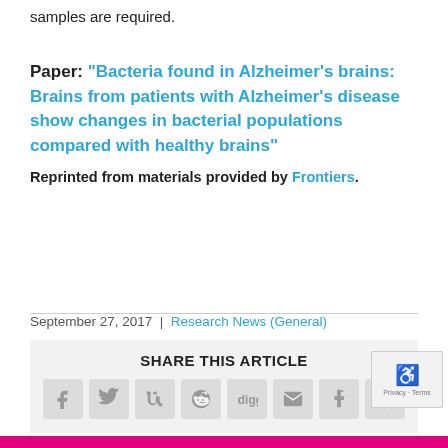samples are required.
Paper: “Bacteria found in Alzheimer’s brains: Brains from patients with Alzheimer’s disease show changes in bacterial populations compared with healthy brains”
Reprinted from materials provided by Frontiers.
September 27, 2017 | Research News (General)
SHARE THIS ARTICLE